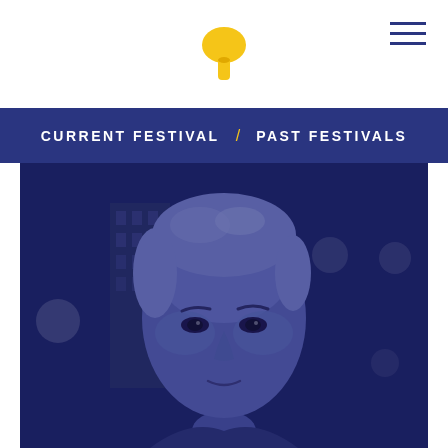[Figure (logo): Yellow mushroom-shaped logo icon centered at top of page]
CURRENT FESTIVAL  /  PAST FESTIVALS
[Figure (photo): Portrait photo of a woman with short blonde hair against a dark blue bokeh background, with a blue color overlay. She has fair skin, a direct gaze at the camera, and appears to be wearing a dark outfit.]